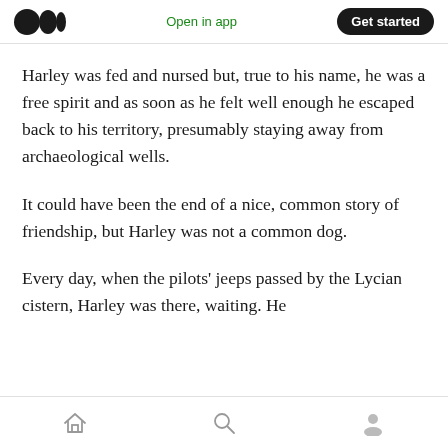Open in app  Get started
Harley was fed and nursed but, true to his name, he was a free spirit and as soon as he felt well enough he escaped back to his territory, presumably staying away from archaeological wells.
It could have been the end of a nice, common story of friendship, but Harley was not a common dog.
Every day, when the pilots' jeeps passed by the Lycian cistern, Harley was there, waiting. He
Home  Search  Profile